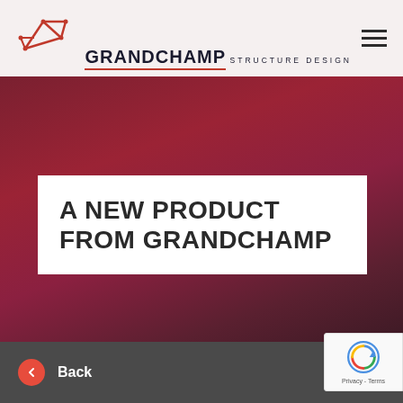[Figure (logo): Grandchamp Structure Design logo — geometric red line art of connected nodes/frame structure on left, bold dark text GRANDCHAMP with STRUCTURE DESIGN subtitle and red underline on right]
A NEW PRODUCT FROM GRANDCHAMP
Back